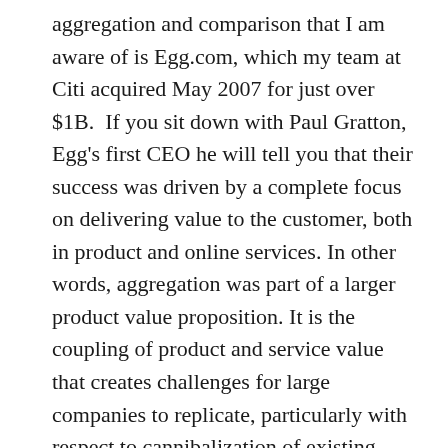aggregation and comparison that I am aware of is Egg.com, which my team at Citi acquired May 2007 for just over $1B. If you sit down with Paul Gratton, Egg's first CEO he will tell you that their success was driven by a complete focus on delivering value to the customer, both in product and online services. In other words, aggregation was part of a larger product value proposition. It is the coupling of product and service value that creates challenges for large companies to replicate, particularly with respect to cannibalization of existing products. For Bankers.. this is why the Egg model is so difficult to replicate (or acquire), it takes alignment of a value proposition across product, services and channels. A challenge